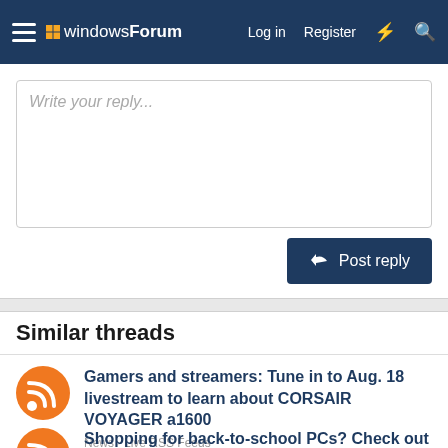windowsForum  Log in  Register
Write your reply...
Post reply
Similar threads
Gamers and streamers: Tune in to Aug. 18 livestream to learn about CORSAIR VOYAGER a1600
News · Live RSS Feeds
Replies: 0 · Aug 19, 2022
Shopping for back-to-school PCs? Check out these Windows 11 laptops
News · Live RSS Feeds